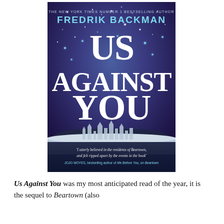[Figure (illustration): Book cover of 'Us Against You' by Fredrik Backman. Dark purple/blue night sky with stars. Large white hand-lettered title 'US AGAINST YOU'. Author name 'FREDRIK BACKMAN' in cyan/teal at top. Tagline 'THE NEW YORK TIMES NUMBER 1 BESTSELLING AUTHOR' above author name. Snow-covered town silhouette at bottom. Quote: 'I utterly believed in the residents of Beartown, and felt ripped apart by the events in the book' JOJO MOYES, bestselling author of Me Before You, on Beartown.]
Us Against You was my most anticipated read of the year, it is the sequel to Beartown (also